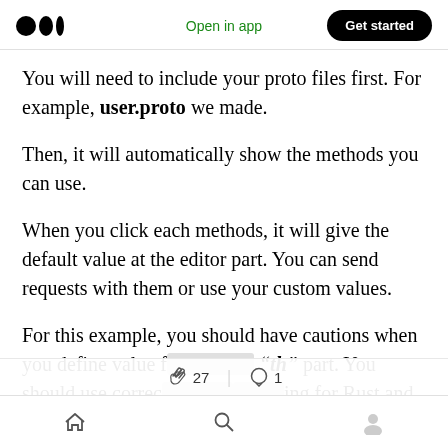Medium logo | Open in app | Get started
You will need to include your proto files first. For example, user.proto we made.
Then, it will automatically show the methods you can use.
When you click each methods, it will give the default value at the editor part. You can send requests with them or use your custom values.
For this example, you should have cautions when you define value f[...] “th” part. You should use correc[...] ing for Rust and
Home | Search | Profile